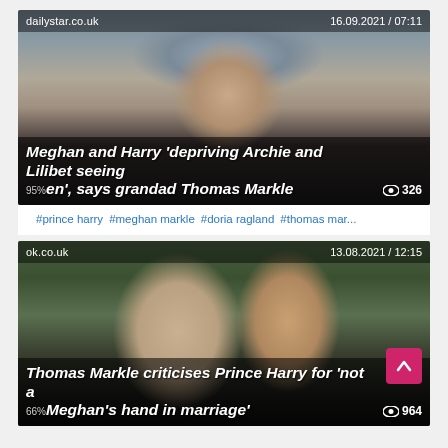[Figure (screenshot): News article card from dailystar.co.uk dated 16.09.2021 / 07:11 showing an older man with glasses. Headline: Meghan and Harry 'depriving Archie and Lilibet seeing Queen', says grandad Thomas Markle. Views: 326.]
#prince harry  #meghan markle  #doria ragland  #thomas mar...
[Figure (screenshot): News article card from ok.co.uk dated 13.08.2021 / 12:15 showing Meghan Markle and Prince Harry. Headline: Thomas Markle criticises Prince Harry for 'not asking for Meghan's hand in marriage'. Views: 964.]